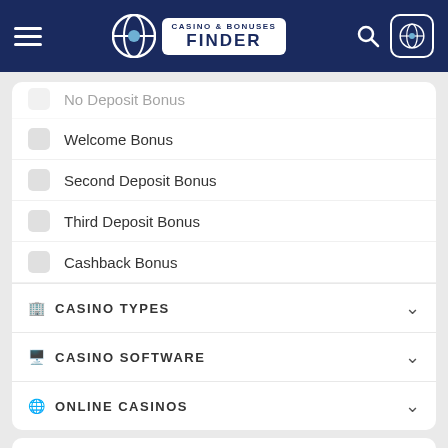CASINO & BONUSES FINDER
No Deposit Bonus
Welcome Bonus
Second Deposit Bonus
Third Deposit Bonus
Cashback Bonus
CASINO TYPES
CASINO SOFTWARE
ONLINE CASINOS
Cashable
Rating: 6.16/10